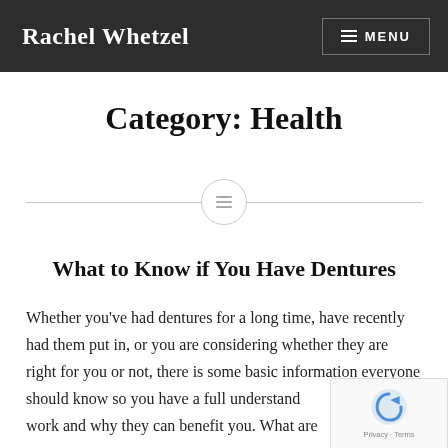Rachel Whetzel | MENU
Category: Health
[Figure (other): Horizontal divider line with a circular icon in the center containing a small lines/menu symbol]
What to Know if You Have Dentures
Whether you’ve had dentures for a long time, have recently had them put in, or you are considering whether they are right for you or not, there is some basic information everyone should know so you have a full understanding of how they work and why they can benefit you. What are